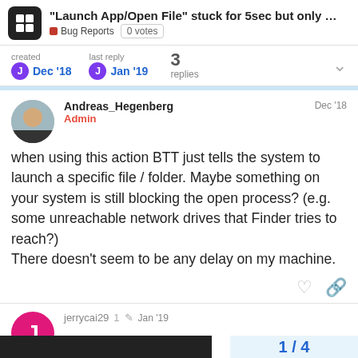"Launch App/Open File" stuck for 5sec but only ... Bug Reports 0 votes
created Dec '18  last reply Jan '19  3 replies
Andreas_Hegenberg Admin Dec '18
when using this action BTT just tells the system to launch a specific file / folder. Maybe something on your system is still blocking the open process? (e.g. some unreachable network drives that Finder tries to reach?)
There doesn't seem to be any delay on my machine.
jerrycai29  1  Jan '19
1 / 4